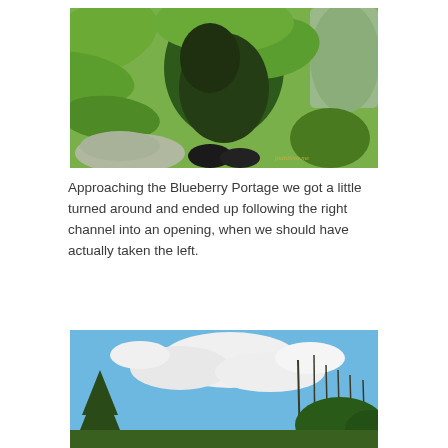[Figure (photo): Fish-eye or wide-angle photo looking down through dense green pine/fern foliage. A pair of black shoes is visible at the bottom center. Rocky ground and vegetation visible. A watermark 'paddleto.me' appears in the lower right corner.]
Approaching the Blueberry Portage we got a little turned around and ended up following the right channel into an opening, when we should have actually taken the left.
[Figure (photo): Photo looking upward at a blue sky with white clouds, with tree silhouettes (including tall reed-like plants and a conifer on the left) framing the edges.]